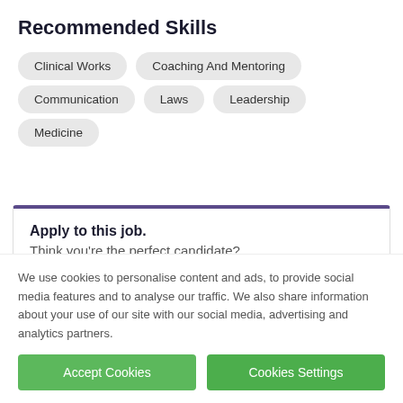Recommended Skills
Clinical Works
Coaching And Mentoring
Communication
Laws
Leadership
Medicine
Apply to this job.
Think you’re the perfect candidate?
We use cookies to personalise content and ads, to provide social media features and to analyse our traffic. We also share information about your use of our site with our social media, advertising and analytics partners.
Accept Cookies
Cookies Settings